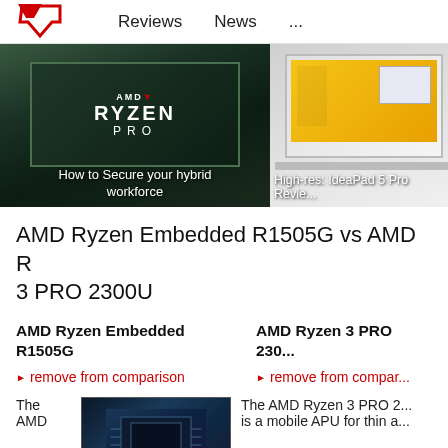Reviews   News   ...
[Figure (photo): AMD Ryzen PRO chip close-up with overlay text: How to Secure your hybrid workforce]
[Figure (photo): Laptop (IdeaPad 5 Pro) with yellow wallpaper, partially visible. Caption: High-res: IdeaPad 5 Pro Revie...]
AMD Ryzen Embedded R1505G vs AMD R 3 PRO 2300U
AMD Ryzen Embedded R1505G
AMD Ryzen 3 PRO 230...
remove from comparison
remove from comparison
The AMD
[Figure (photo): AMD chip/circuit board close-up image]
The AMD Ryzen 3 PRO 2... is a mobile APU for thin a...